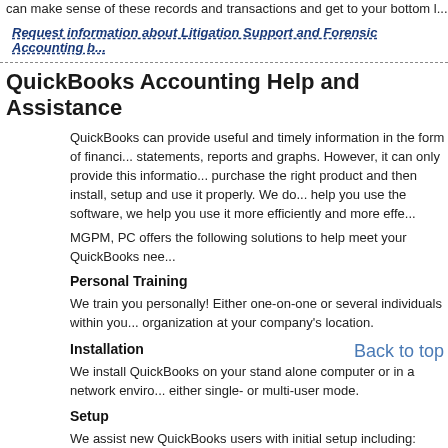can make sense of these records and transactions and get to your bottom l...
Request information about Litigation Support and Forensic Accounting b...
QuickBooks Accounting Help and Assistance
QuickBooks can provide useful and timely information in the form of financial statements, reports and graphs. However, it can only provide this information if you purchase the right product and then install, setup and use it properly. We do not just help you use the software, we help you use it more efficiently and more effe...
MGPM, PC offers the following solutions to help meet your QuickBooks nee...
Personal Training
We train you personally! Either one-on-one or several individuals within your organization at your company's location.
Installation
Back to top
We install QuickBooks on your stand alone computer or in a network enviro... either single- or multi-user mode.
Setup
We assist new QuickBooks users with initial setup including: EasyStep Inte... Preferences, Lists, Customers, Vendors, Employees, Banking and Reports. We help experienced users manage their businesses more effectively by impro... current setup. Many users experience problems and lack the ability to gene... track important information as a result of inadequate setup.
Support